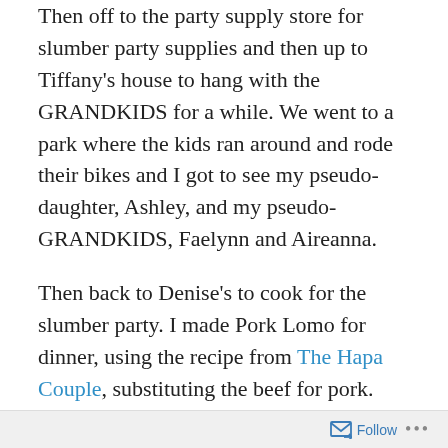Then off to the party supply store for slumber party supplies and then up to Tiffany's house to hang with the GRANDKIDS for a while. We went to a park where the kids ran around and rode their bikes and I got to see my pseudo-daughter, Ashley, and my pseudo-GRANDKIDS, Faelynn and Aireanna.
Then back to Denise's to cook for the slumber party. I made Pork Lomo for dinner, using the recipe from The Hapa Couple, substituting the beef for pork. YUMMY! I am really enjoying cooking. There was tons of naughty food and I blessedly was able to resist. I even slept with a plate of THIN MINTS next to my head. The other thing I realized is that besides a cup of coffee in the morning, I drank nothing but water all day 🙂
There were 7 of us, and besides our new friend Shannon
Follow ···